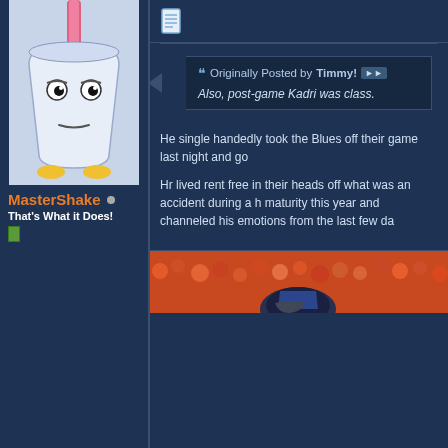[Figure (illustration): Cartoon avatar of MasterShake character from Aqua Teen Hunger Force - a milkshake cup with eyes and a straw]
MasterShake •
That's What it Does!
[Figure (other): Green reputation bar square]
[Figure (other): Post/document icon]
Originally Posted by Timmy!
Also, post-game Kadri was class.
He single handedly took the Blues off their game last night and go
Hr lived rent free in their heads off what was an accident during a h... maturity this year and channeled his emotions from the last few da...
[Figure (photo): Partial photo at bottom showing what appears to be a football/sports player in a helmet]